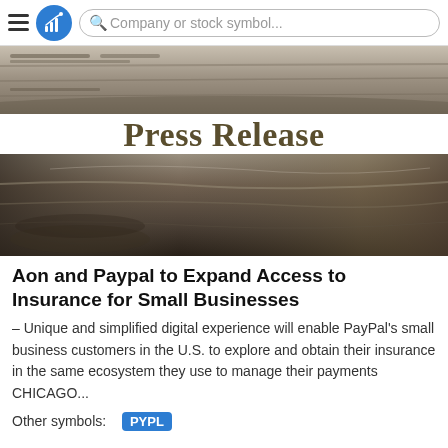Company or stock symbol...
[Figure (photo): Stacked newspapers seen from above, close-up photo, top portion]
Press Release
[Figure (photo): Stacked newspapers seen from above, close-up photo, bottom portion, darker tones]
Aon and Paypal to Expand Access to Insurance for Small Businesses
– Unique and simplified digital experience will enable PayPal's small business customers in the U.S. to explore and obtain their insurance in the same ecosystem they use to manage their payments CHICAGO...
Other symbols:  PYPL